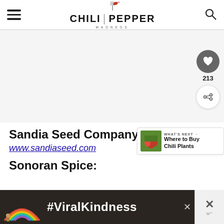Chili Pepper Madness
[Figure (logo): Chili Pepper Madness logo with fork and chili pepper icon]
[Figure (other): Advertisement banner area (gray placeholder)]
Sandia Seed Company:
www.sandiaseed.com
Sonoran Spice:
[Figure (screenshot): #ViralKindness advertisement banner with rainbow graphic]
[Figure (other): What's Next panel: Where to Buy Chili Plants with thumbnail image]